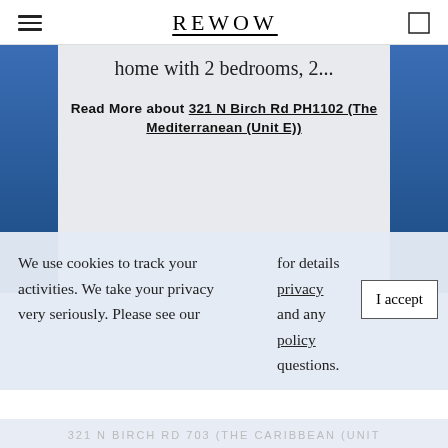REWOW
home with 2 bedrooms, 2...
Read More about 321 N Birch Rd PH1102 (The Mediterranean (Unit E))
We use cookies to track your activities. We take your privacy very seriously. Please see our for details privacy policy and any questions.
321 N BIRCH RD 703 (THE CARIBBEAN (UNIT